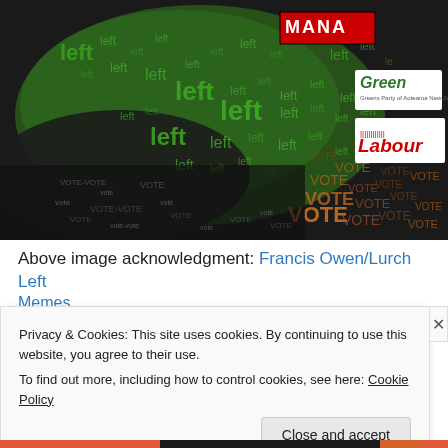[Figure (illustration): A political art illustration featuring the word 'left' repeated many times in green tones forming a stylized face/bird shape, with political party logos (MANA, Green, Labour) overlaid, the word 'VOTE' repeated in brown/copper tones at the bottom right, and '2014' on the right side. Dark background with typographic art style.]
Above image acknowledgment: Francis Owen/Lurch Left Memes
Privacy & Cookies: This site uses cookies. By continuing to use this website, you agree to their use.
To find out more, including how to control cookies, see here: Cookie Policy
Close and accept